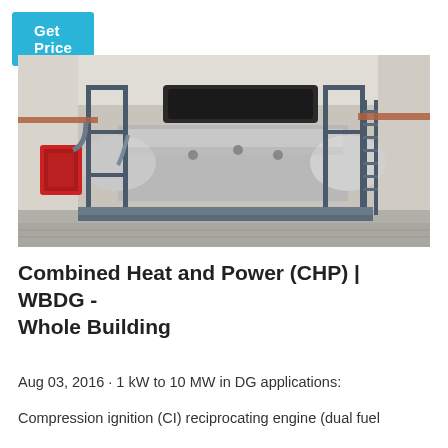Get Price
[Figure (photo): Large industrial boiler/CHP unit inside a building, showing a large horizontal cylindrical silver-metallic tank with steel scaffolding and ladder structure, pipes and valves, a red component on the left side, and a black hood on top. The equipment sits on a metallic platform inside a warehouse with white walls and ceiling.]
Combined Heat and Power (CHP) | WBDG - Whole Building
Aug 03, 2016 · 1 kW to 10 MW in DG applications:
Compression ignition (CI) reciprocating engine (dual fuel